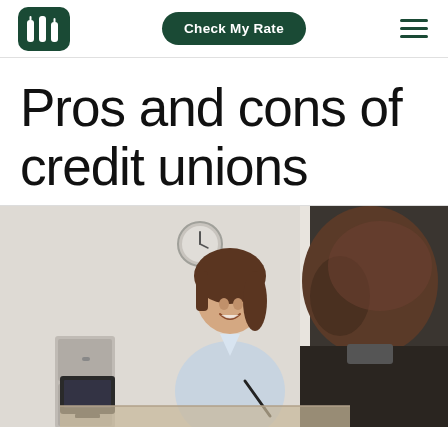Check My Rate
Pros and cons of credit unions
[Figure (photo): A smiling woman in a light blue shirt sitting across a desk from a bearded man in a dark suit jacket, in what appears to be an office or financial consultation setting, with a clock and filing cabinet visible in the background.]